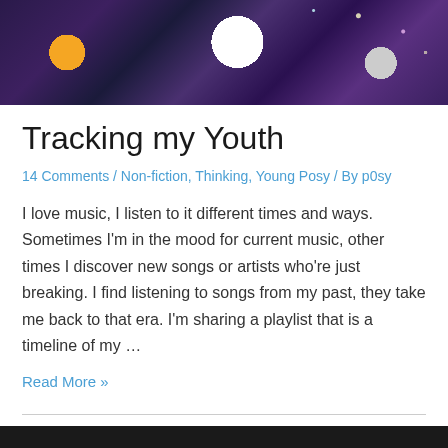[Figure (photo): Header image showing vinyl records and cassette tapes against a cosmic/galaxy background with stars]
Tracking my Youth
14 Comments / Non-fiction, Thinking, Young Posy / By p0sy
I love music, I listen to it different times and ways. Sometimes I'm in the mood for current music, other times I discover new songs or artists who're just breaking. I find listening to songs from my past, they take me back to that era. I'm sharing a playlist that is a timeline of my …
Read More »
[Figure (photo): Partially visible image at the bottom of the page, dark toned]